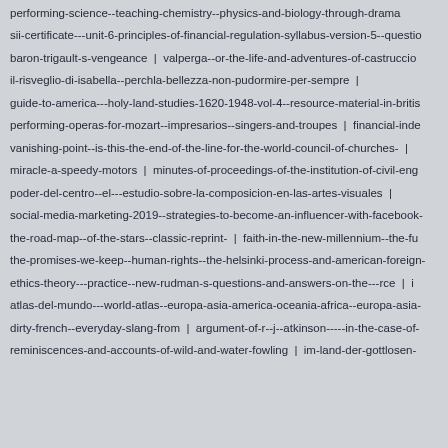performing-science--teaching-chemistry--physics-and-biology-through-drama
sii-certificate---unit-6-principles-of-financial-regulation-syllabus-version-5--questio...
baron-trigault-s-vengeance | valperga--or-the-life-and-adventures-of-castruccio...
il-risveglio-di-isabella--perchla-bellezza-non-pudormire-per-sempre |
guide-to-america---holy-land-studies-1620-1948-vol-4--resource-material-in-britis...
performing-operas-for-mozart--impresarios--singers-and-troupes | financial-inde...
vanishing-point--is-this-the-end-of-the-line-for-the-world-council-of-churches- |
miracle-a-speedy-motors | minutes-of-proceedings-of-the-institution-of-civil-eng...
poder-del-centro--el---estudio-sobre-la-composicion-en-las-artes-visuales |
social-media-marketing-2019--strategies-to-become-an-influencer-with-facebook-...
the-road-map--of-the-stars--classic-reprint- | faith-in-the-new-millennium--the-fu...
the-promises-we-keep--human-rights--the-helsinki-process-and-american-foreign-...
ethics-theory---practice--new-rudman-s-questions-and-answers-on-the---rce | i...
atlas-del-mundo---world-atlas--europa-asia-america-oceania-africa--europa-asia-...
dirty-french--everyday-slang-from | argument-of-r--j--atkinson-----in-the-case-of-...
reminiscences-and-accounts-of-wild-and-water-fowling | im-land-der-gottlosen-...